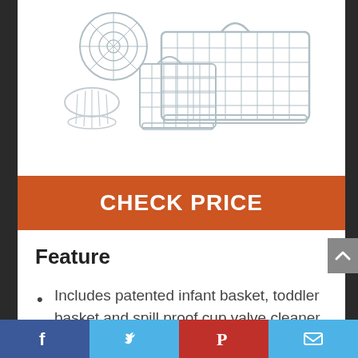[Figure (photo): Product photo of dishwasher basket set including patented infant basket, toddler basket, and spill proof cup valve cleaner — metallic/silver wire mesh baskets on white background]
CHECK PRICE
Feature
Includes patented infant basket, toddler basket and spill proof cup valve cleaner
Facebook | Twitter | Pinterest | Email social sharing bar